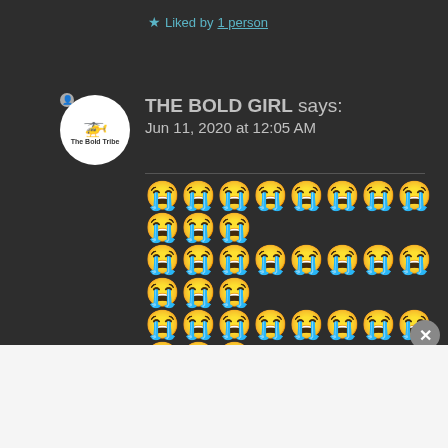★ Liked by 1 person
THE BOLD GIRL says: Jun 11, 2020 at 12:05 AM
😭😭😭😭😭😭😭😭😭😭😭😭😭😭😭😭😭😭😭😭😭😭😭😭😭😭😭😭😭😭😭😭😭😭😭😭😭😭😭😭😭😭😭😭😭😭😭😭😭😭😭😭😭😭😭😭😭😭😭😭😭😭😭😭😭😭😭😭😭😭😭😭😭😭😭😭😭😭😭😭😭😭😭😭
Advertisements
[Figure (screenshot): Day One journaling app advertisement banner: 'The only journaling app you'll ever need.']